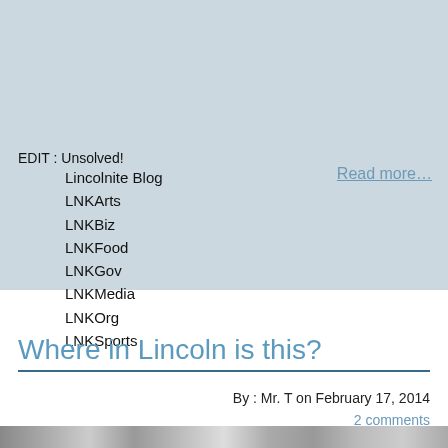EDIT: Unsolved!
Lincolnite Blog
LNKArts
LNKBiz
LNKFood
LNKGov
LNKMedia
LNKOrg
LNKSports
Read more...
Where in Lincoln is this?
By: Mr. T on February 17, 2014
2 comments
[Figure (photo): Bottom strip of a photo, partial view]